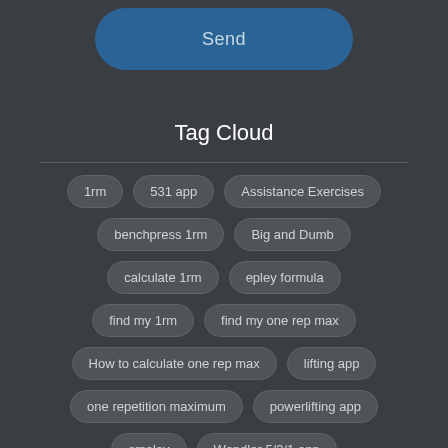Send
Tag Cloud
1rm
531 app
Assistance Exercises
benchpress 1rm
Big and Dumb
calculate 1rm
epley formula
find my 1rm
find my one rep max
How to calculate one rep max
lifting app
one repetition maximum
powerlifting app
smolov
Wendler 5/3/1 app